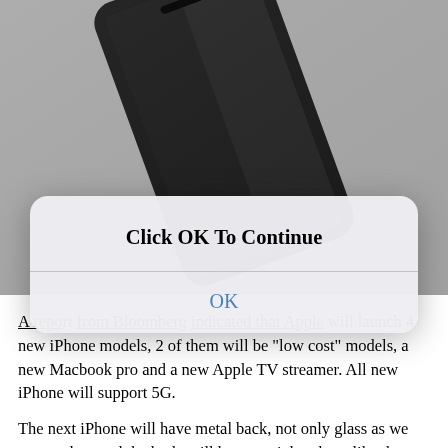[Figure (photo): Close-up photograph of a black iPhone (iPhone 5 style) viewed from its top/corner, showing the earpiece, camera and dark glass screen, on a gray background.]
[Figure (screenshot): iOS-style modal dialog box with title 'Click OK To Continue' and a blue 'OK' button, overlaid on the iPhone photo and article text.]
A report from Bloomberg indicated that Apple will launch 4 new iPhone models, 2 of them will be "low cost" models, a new Macbook pro and a new Apple TV streamer. All new iPhone will support 5G.
The next iPhone will have metal back, not only glass as we got used to, and the body will have straight edges, like the iPhone 5, but much more slim. It's still unclear if all 4 models will get the new design…